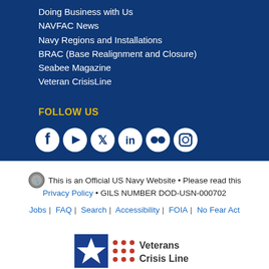Doing Business with Us
NAVFAC News
Navy Regions and Installations
BRAC (Base Realignment and Closure)
Seabee Magazine
Veteran CrisisLine
FOLLOW US
[Figure (infographic): Social media icons: Facebook, YouTube, Twitter, LinkedIn, Flickr, Instagram]
This is an Official US Navy Website • Please read this Privacy Policy • GILS NUMBER DOD-USN-000702
Jobs | FAQ | Search | Accessibility | FOIA | No Fear Act
[Figure (logo): Veterans Crisis Line logo with blue square, red dots, and star]